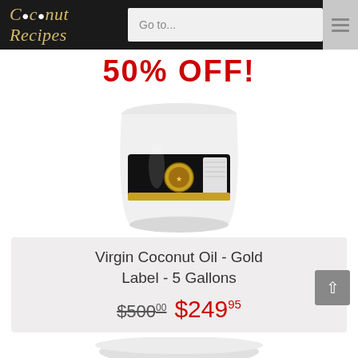Coconut Recipes — Go to...
50% OFF!
[Figure (photo): Large white 5-gallon bucket of Virgin Coconut Oil with a black and gold label]
Virgin Coconut Oil - Gold Label - 5 Gallons
$500.00 $249.95
[Figure (photo): Bottom portion of another product container visible at the bottom of the page]